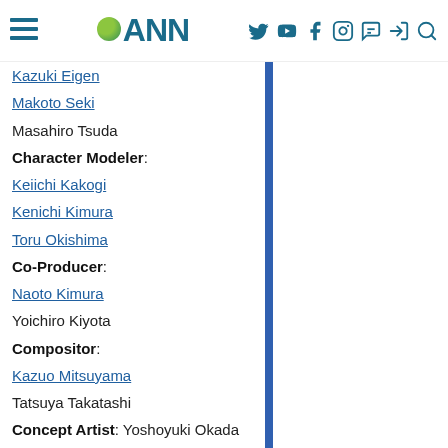ANN
Kazuki Eigen
Makoto Seki
Masahiro Tsuda
Character Modeler: Keiichi Kakogi, Kenichi Kimura, Toru Okishima
Co-Producer: Naoto Kimura, Yoichiro Kiyota
Compositor: Kazuo Mitsuyama, Tatsuya Takatashi
Concept Artist: Yoshoyuki Okada
Editing: Makoto Seki
FX Animator: Masaki Suyama, Yūta Takeuchi
Military Research: Tomoyuki Hasegawa